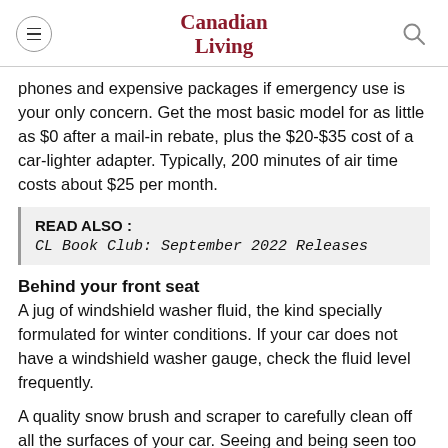Canadian Living
phones and expensive packages if emergency use is your only concern. Get the most basic model for as little as $0 after a mail-in rebate, plus the $20-$35 cost of a car-lighter adapter. Typically, 200 minutes of air time costs about $25 per month.
READ ALSO : CL Book Club: September 2022 Releases
Behind your front seat
A jug of windshield washer fluid, the kind specially formulated for winter conditions. If your car does not have a windshield washer gauge, check the fluid level frequently.
A quality snow brush and scraper to carefully clean off all the surfaces of your car. Seeing and being seen too